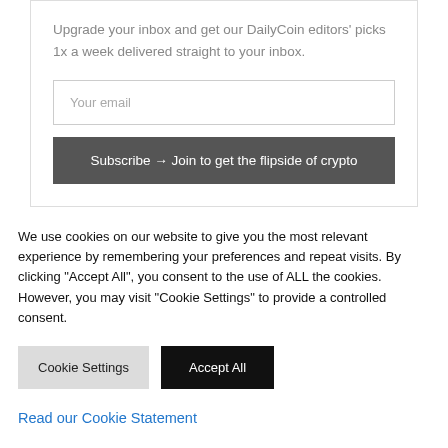Upgrade your inbox and get our DailyCoin editors' picks 1x a week delivered straight to your inbox.
Your email
Subscribe → Join to get the flipside of crypto
We use cookies on our website to give you the most relevant experience by remembering your preferences and repeat visits. By clicking "Accept All", you consent to the use of ALL the cookies. However, you may visit "Cookie Settings" to provide a controlled consent.
Cookie Settings
Accept All
Read our Cookie Statement